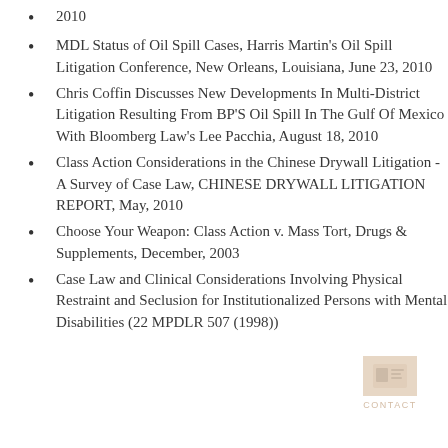2010
MDL Status of Oil Spill Cases, Harris Martin's Oil Spill Litigation Conference, New Orleans, Louisiana, June 23, 2010
Chris Coffin Discusses New Developments In Multi-District Litigation Resulting From BP'S Oil Spill In The Gulf Of Mexico With Bloomberg Law's Lee Pacchia, August 18, 2010
Class Action Considerations in the Chinese Drywall Litigation - A Survey of Case Law, CHINESE DRYWALL LITIGATION REPORT, May, 2010
Choose Your Weapon: Class Action v. Mass Tort, Drugs & Supplements, December, 2003
Case Law and Clinical Considerations Involving Physical Restraint and Seclusion for Institutionalized Persons with Mental Disabilities (22 MPDLR 507 (1998))